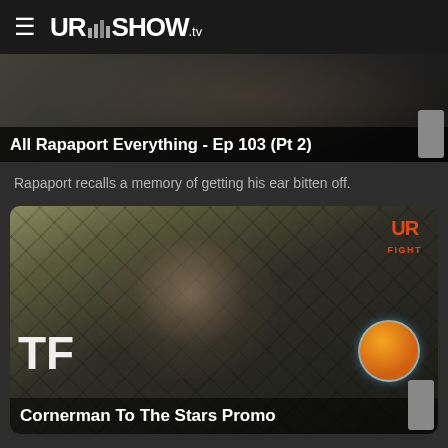UR SHOW.tv
[Figure (screenshot): Video thumbnail for 'All Rapaport Everything - Ep 103 (Pt 2)' with title overlay on dark background]
All Rapaport Everything - Ep 103 (Pt 2)
Rapaport recalls a memory of getting his ear bitten off.
[Figure (photo): Video thumbnail showing a man in a light shirt standing in front of an MMA cage with UR FIGHT logo and orange badge visible. TF letters visible at left edge. Title overlay: Cornerman To The Stars Promo]
Cornerman To The Stars Promo
Go to the Contest page and U may end up ringside in somebody's corner.